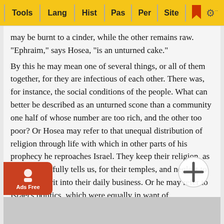Tools | Lang | Hist | Pas | Per | Site
may be burnt to a cinder, while the other remains raw. "Ephraim," says Hosea, "is an unturned cake."
By this he may mean one of several things, or all of them together, for they are infectious of each other. There was, for instance, the social conditions of the people. What can better be described as an unturned scone than a community one half of whose number are too rich, and the other too poor? Or Hosea may refer to that unequal distribution of religion through life with which in other parts of his prophecy he reproaches Israel. They keep their religion, as Amos more fully tells us, for their temples, and neglect to carry its spirit into their daily business. Or he may refer to Israel's politics, which were equally in want of thoroughness. They rush at an enterprise, but having expended so much fire at the beginning of it, they let the end drop cold and dead. Or he may wish to criticise, like Amos, the religious formalities re- the pr... vise upon t...